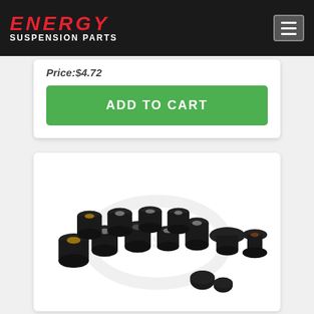ENERGY SUSPENSION PARTS
Price:$4.72
ADD TO CART
[Figure (photo): Set of black polyurethane suspension bushings with metal sleeves, various sizes, arranged on white background with watermark logo]